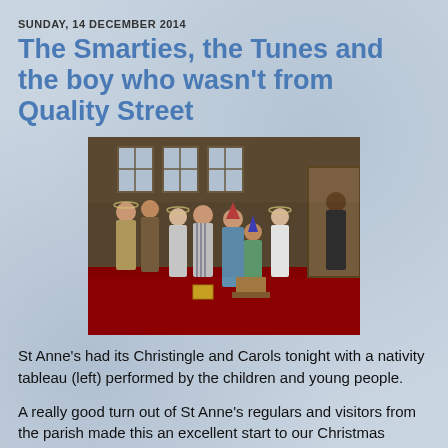SUNDAY, 14 DECEMBER 2014
The Smarties, the Tunes and the boy who wasn't from Quality Street
[Figure (photo): Children and young people in nativity costumes performing a tableau inside a church with red carpet, posed in a group with various biblical character costumes including shepherds, wise men, and angels.]
St Anne's had its Christingle and Carols tonight with a nativity tableau (left) performed by the children and young people.
A really good turn out of St Anne's regulars and visitors from the parish made this an excellent start to our Christmas festivities.